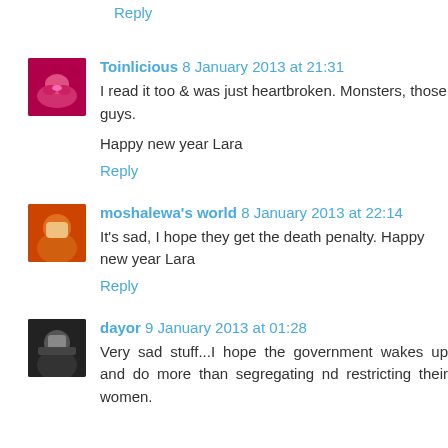Reply
Toinlicious 8 January 2013 at 21:31
I read it too & was just heartbroken. Monsters, those guys.
Happy new year Lara
Reply
moshalewa's world 8 January 2013 at 22:14
It's sad, I hope they get the death penalty. Happy new year Lara
Reply
dayor 9 January 2013 at 01:28
Very sad stuff...I hope the government wakes up and do more than segregating nd restricting their women.